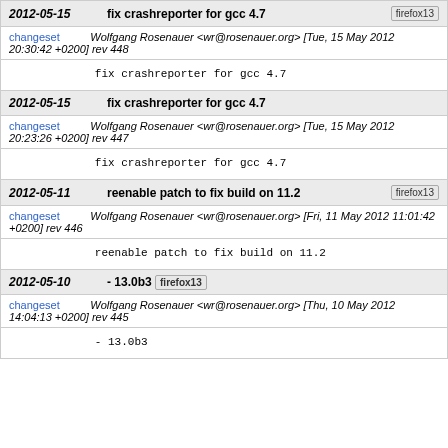2012-05-15 fix crashreporter for gcc 4.7 firefox13
changeset Wolfgang Rosenauer <wr@rosenauer.org> [Tue, 15 May 2012 20:30:42 +0200] rev 448
fix crashreporter for gcc 4.7
2012-05-15 fix crashreporter for gcc 4.7
changeset Wolfgang Rosenauer <wr@rosenauer.org> [Tue, 15 May 2012 20:23:26 +0200] rev 447
fix crashreporter for gcc 4.7
2012-05-11 reenable patch to fix build on 11.2 firefox13
changeset Wolfgang Rosenauer <wr@rosenauer.org> [Fri, 11 May 2012 11:01:42 +0200] rev 446
reenable patch to fix build on 11.2
2012-05-10 - 13.0b3 firefox13
changeset Wolfgang Rosenauer <wr@rosenauer.org> [Thu, 10 May 2012 14:04:13 +0200] rev 445
- 13.0b3